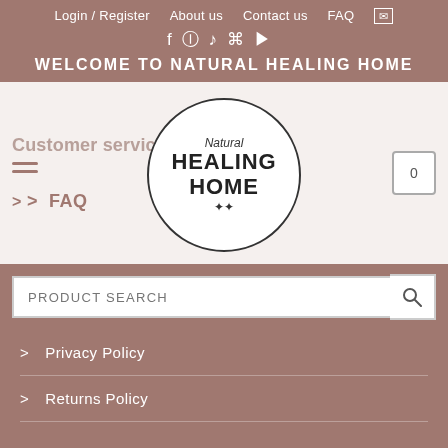Login / Register   About us   Contact us   FAQ
[Figure (screenshot): Social media icons: Facebook, Instagram, TikTok, Pinterest, YouTube]
WELCOME TO NATURAL HEALING HOME
[Figure (logo): Natural Healing Home circular logo with text and leaf motif]
Customer service
> FAQ
PRODUCT SEARCH
> Privacy Policy
> Returns Policy
Contact
[Figure (screenshot): reCAPTCHA widget showing Privacy - Terms]
We're offline
Leave a message
> Contact Us